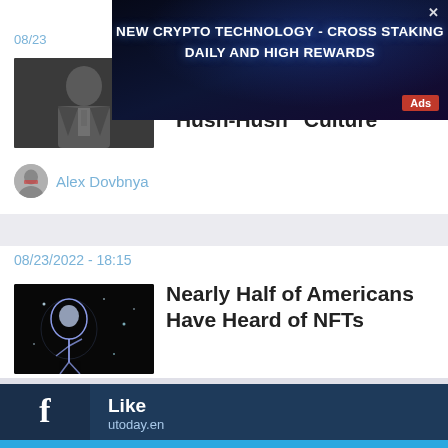[Figure (screenshot): Advertisement banner: NEW CRYPTO TECHNOLOGY - CROSS STAKING DAILY AND HIGH REWARDS, dark blue background with glowing particle effects, Ads badge in bottom right, close X in top right]
08/23
[Figure (photo): Thumbnail photo of a man in a suit, dark image, Cardano creator]
Cardano Creator Addresses Criticism About "Hush-Hush" Culture
Alex Dovbnya
08/23/2022 - 18:15
[Figure (photo): Dark thumbnail showing NFT digital art with glowing blue-white figure on black background]
Nearly Half of Americans Have Heard of NFTs
Alex Dovbnya
Like
utoday.en
Follow